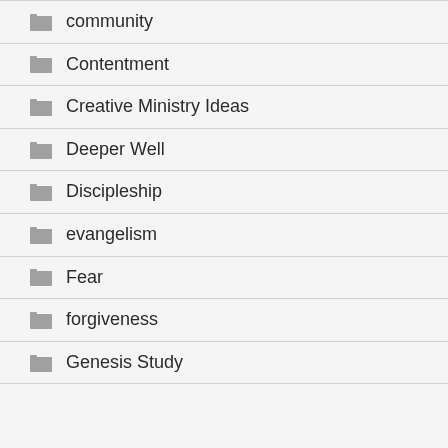community
Contentment
Creative Ministry Ideas
Deeper Well
Discipleship
evangelism
Fear
forgiveness
Genesis Study